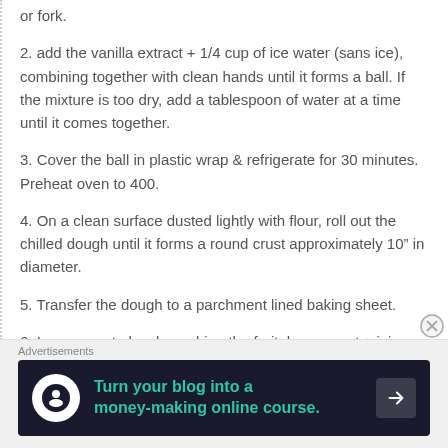or fork.
2. add the vanilla extract + 1/4 cup of ice water (sans ice), combining together with clean hands until it forms a ball. If the mixture is too dry, add a tablespoon of water at a time until it comes together.
3. Cover the ball in plastic wrap & refrigerate for 30 minutes. Preheat oven to 400.
4. On a clean surface dusted lightly with flour, roll out the chilled dough until it forms a round crust approximately 10” in diameter.
5. Transfer the dough to a parchment lined baking sheet.
6. In a separate bowl, combine the fruit, lemon zest + juice and sugar together. Stir & add to the center of
Advertisements
[Figure (infographic): Advertisement banner: dark navy background with white circle icon containing a person/tree silhouette, teal text reading 'Turn your blog into a money-making online course.' and a right arrow button.]